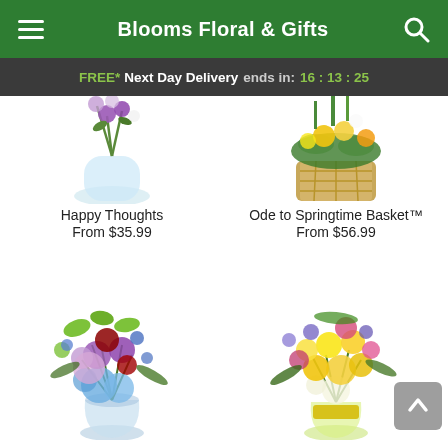Blooms Floral & Gifts
FREE* Next Day Delivery ends in: 16:13:25
[Figure (photo): Partial view of a floral arrangement in a glass vase with purple/white flowers — Happy Thoughts]
[Figure (photo): Partial view of a floral arrangement in a wicker basket with yellow flowers — Ode to Springtime Basket]
Happy Thoughts
From $35.99
Ode to Springtime Basket™
From $56.99
[Figure (photo): Colorful mixed bouquet with purple roses, red carnations, blue hydrangeas, and green flowers in a glass vase]
[Figure (photo): Bright bouquet with yellow roses, yellow carnations, purple and pink flowers in a glass vase with yellow ribbon]